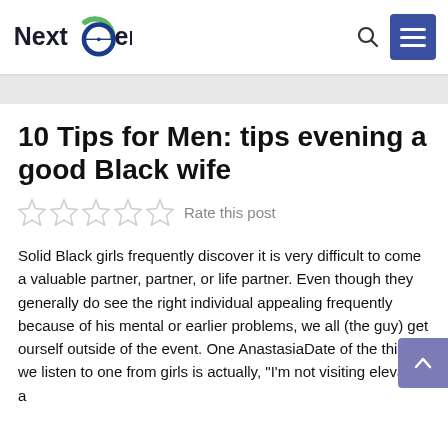NextGen logo with search and menu
10 Tips for Men: tips evening a good Black wife
Rate this post
Solid Black girls frequently discover it is very difficult to come a valuable partner, partner, or life partner. Even though they generally do see the right individual appealing frequently because of his mental or earlier problems, we all (the guy) get ourself outside of the event. One AnastasiaDate of the things we listen to one from girls is actually, "I'm not visiting elevate a